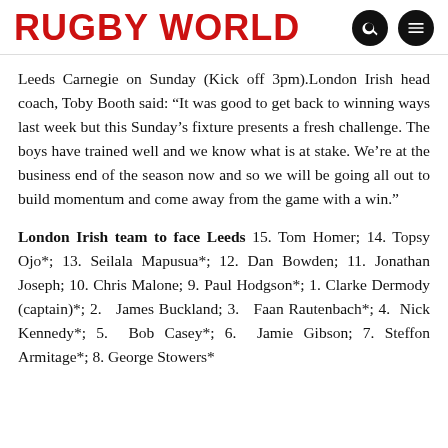RUGBY WORLD
Leeds Carnegie on Sunday (Kick off 3pm).London Irish head coach, Toby Booth said: “It was good to get back to winning ways last week but this Sunday’s fixture presents a fresh challenge. The boys have trained well and we know what is at stake. We’re at the business end of the season now and so we will be going all out to build momentum and come away from the game with a win.”
London Irish team to face Leeds 15. Tom Homer; 14. Topsy Ojo*; 13. Seilala Mapusua*; 12. Dan Bowden; 11. Jonathan Joseph; 10. Chris Malone; 9. Paul Hodgson*; 1. Clarke Dermody (captain)*; 2. James Buckland; 3. Faan Rautenbach*; 4. Nick Kennedy*; 5. Bob Casey*; 6. Jamie Gibson; 7. Steffon Armitage*; 8. George Stowers*